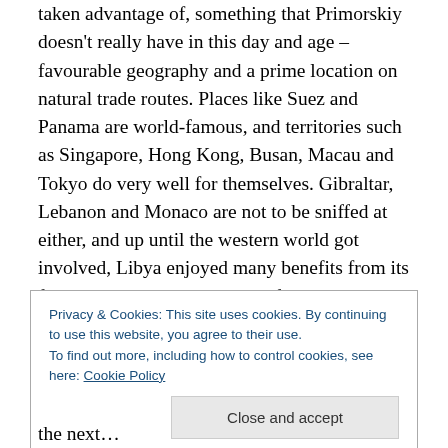taken advantage of, something that Primorskiy doesn't really have in this day and age – favourable geography and a prime location on natural trade routes. Places like Suez and Panama are world-famous, and territories such as Singapore, Hong Kong, Busan, Macau and Tokyo do very well for themselves. Gibraltar, Lebanon and Monaco are not to be sniffed at either, and up until the western world got involved, Libya enjoyed many benefits from its free port area in Misrata. All of these had those natural benefits of location, whilst Vladivostok's selling point in recent years is as a starting point for the Trans-Siberian
Privacy & Cookies: This site uses cookies. By continuing to use this website, you agree to their use.
To find out more, including how to control cookies, see here: Cookie Policy
Close and accept
the next…